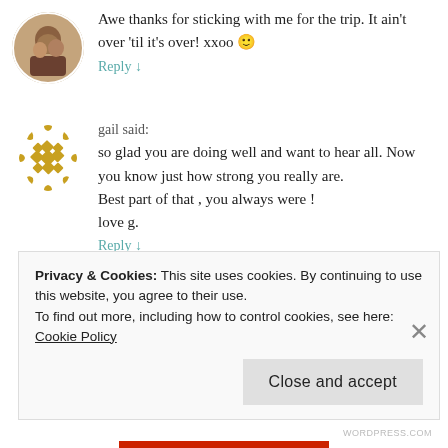Awe thanks for sticking with me for the trip. It ain't over 'til it's over! xxoo 🙂
Reply ↓
gail said:
so glad you are doing well and want to hear all. Now you know just how strong you really are.
Best part of that , you always were !
love g.
Reply ↓
edonnalley said:
Privacy & Cookies: This site uses cookies. By continuing to use this website, you agree to their use.
To find out more, including how to control cookies, see here: Cookie Policy
Close and accept